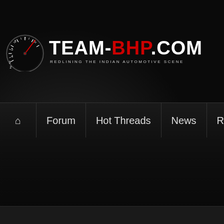[Figure (logo): Team-BHP.com logo with speedometer gauge icon. White and red text reading TEAM-BHP.COM with tagline REDLINING THE INDIAN AUTOMOTIVE SCENE]
Forum | Hot Threads | News | Reviews | Ph...